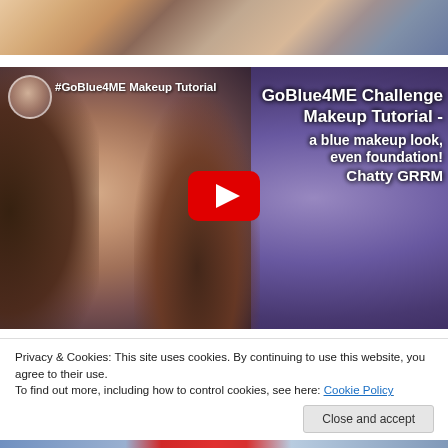[Figure (photo): Top cropped photo showing top of a woman's head with reddish-brown hair]
[Figure (screenshot): YouTube video thumbnail for '#GoBlue4ME Makeup Tutorial' / 'GoBlue4ME Challenge Makeup Tutorial - a blue makeup look, even foundation! Chatty GRRM' with a red YouTube play button in the center and a woman's face in the background]
Privacy & Cookies: This site uses cookies. By continuing to use this website, you agree to their use.
To find out more, including how to control cookies, see here: Cookie Policy
Close and accept
[Figure (photo): Bottom strip showing beginning of another image with red and blue colors]